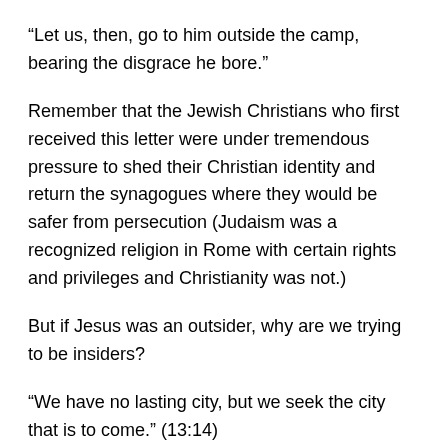“Let us, then, go to him outside the camp, bearing the disgrace he bore.”
Remember that the Jewish Christians who first received this letter were under tremendous pressure to shed their Christian identity and return the synagogues where they would be safer from persecution (Judaism was a recognized religion in Rome with certain rights and privileges and Christianity was not.)
But if Jesus was an outsider, why are we trying to be insiders?
“We have no lasting city, but we seek the city that is to come.” (13:14)